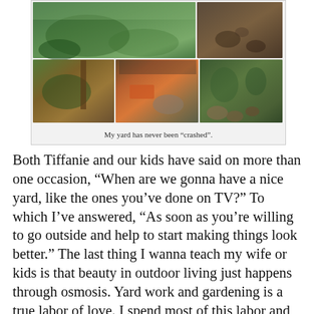[Figure (photo): A collage of five garden/yard photographs arranged in a 2-row grid: top row shows a wide lush green garden view and a smaller brown soil/rock area; bottom row shows plants near a wooden post, an under-structure area with colorful items, and a rocky garden bed with plants.]
My yard has never been “crashed”.
Both Tiffanie and our kids have said on more than one occasion, “When are we gonna have a nice yard, like the ones you’ve done on TV?” To which I’ve answered, “As soon as you’re willing to go outside and help to start making things look better.” The last thing I wanna teach my wife or kids is that beauty in outdoor living just happens through osmosis. Yard work and gardening is a true labor of love. I spend most of this labor and my time making money and my yard doesn’t worry